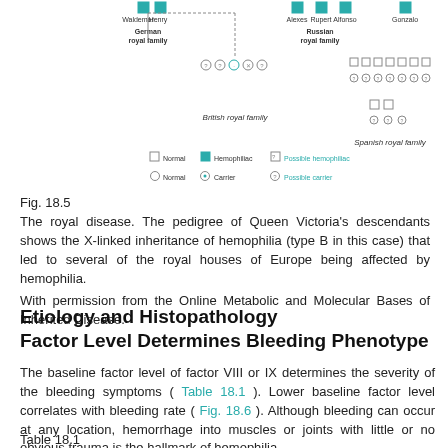[Figure (other): Pedigree chart showing Queen Victoria's descendants with X-linked hemophilia inheritance across British, German, Russian, and Spanish royal families. Legend shows: Normal (empty square/circle), Hemophiliac (filled teal square), Possible hemophiliac (square with ?), Carrier (circle with dot), Possible carrier (circle with ?).]
Fig. 18.5
The royal disease. The pedigree of Queen Victoria's descendants shows the X-linked inheritance of hemophilia (type B in this case) that led to several of the royal houses of Europe being affected by hemophilia.
With permission from the Online Metabolic and Molecular Bases of Inherited Disease.
Etiology and Histopathology
Factor Level Determines Bleeding Phenotype
The baseline factor level of factor VIII or IX determines the severity of the bleeding symptoms ( Table 18.1 ). Lower baseline factor level correlates with bleeding rate ( Fig. 18.6 ). Although bleeding can occur at any location, hemorrhage into muscles or joints with little or no obvious trauma is the hallmark of hemophilia.
Table 18.1